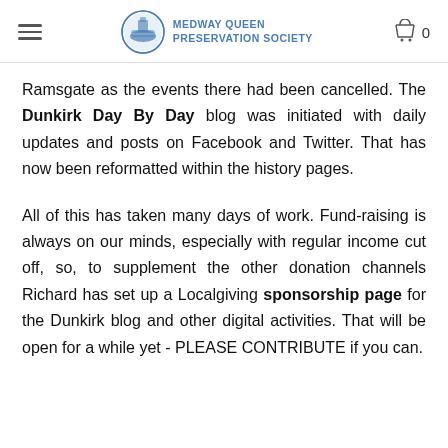MEDWAY QUEEN PRESERVATION SOCIETY
Ramsgate as the events there had been cancelled. The Dunkirk Day By Day blog was initiated with daily updates and posts on Facebook and Twitter. That has now been reformatted within the history pages.
All of this has taken many days of work. Fund-raising is always on our minds, especially with regular income cut off, so, to supplement the other donation channels Richard has set up a Localgiving sponsorship page for the Dunkirk blog and other digital activities. That will be open for a while yet - PLEASE CONTRIBUTE if you can.